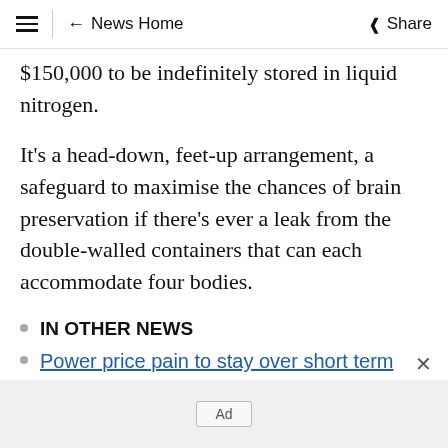≡ | ← News Home   Share
$150,000 to be indefinitely stored in liquid nitrogen.
It's a head-down, feet-up arrangement, a safeguard to maximise the chances of brain preservation if there's ever a leak from the double-walled containers that can each accommodate four bodies.
IN OTHER NEWS
Power price pain to stay over short term